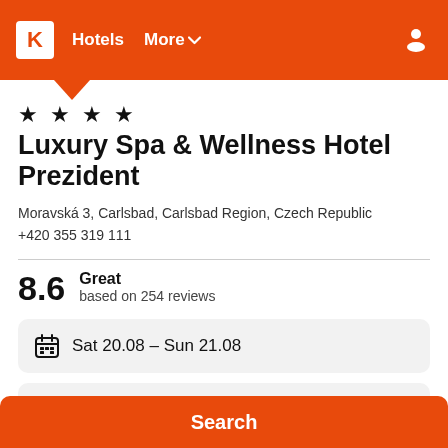K  Hotels  More
★ ★ ★ ★
Luxury Spa & Wellness Hotel Prezident
Moravská 3, Carlsbad, Carlsbad Region, Czech Republic
+420 355 319 111
8.6  Great  based on 254 reviews
Sat 20.08  –  Sun 21.08
1 room, 2 guests
Search